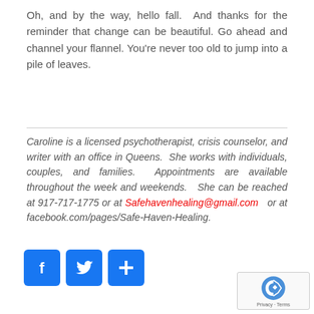Oh, and by the way, hello fall.  And thanks for the reminder that change can be beautiful. Go ahead and channel your flannel. You're never too old to jump into a pile of leaves.
Caroline is a licensed psychotherapist, crisis counselor, and writer with an office in Queens.  She works with individuals, couples, and families.  Appointments are available throughout the week and weekends.  She can be reached at 917-717-1775 or at Safehavenhealing@gmail.com  or at facebook.com/pages/Safe-Haven-Healing.
[Figure (other): Three social media icon buttons: Facebook (f), Twitter (bird), and a blue plus (+) button]